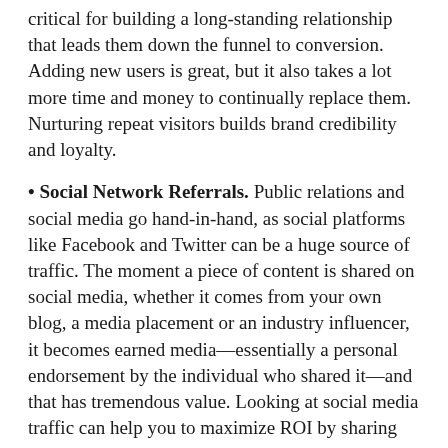critical for building a long-standing relationship that leads them down the funnel to conversion. Adding new users is great, but it also takes a lot more time and money to continually replace them. Nurturing repeat visitors builds brand credibility and loyalty.
Social Network Referrals. Public relations and social media go hand-in-hand, as social platforms like Facebook and Twitter can be a huge source of traffic. The moment a piece of content is shared on social media, whether it comes from your own blog, a media placement or an industry influencer, it becomes earned media—essentially a personal endorsement by the individual who shared it—and that has tremendous value. Looking at social media traffic can help you to maximize ROI by sharing content and assets where they'll drive the most engagement with your intended audience. If you're spending most of your time and effort promoting content on Twitter, but Google Analytics indicates that LinkedIn is generating more visitors, it may be time to shift your focus.
Theaint to nearly any amount of insight available...